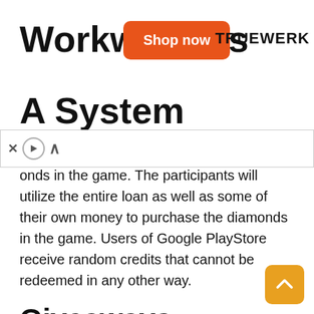[Figure (infographic): Advertisement banner: 'Workkwear As A System' with orange 'Shop now' button and TRUEWERK brand logo]
onds in the game. The participants will utilize the entire loan as well as some of their own money to purchase the diamonds in the game. Users of Google PlayStore receive random credits that cannot be redeemed in any other way.
Giveaways
Participate in giveaway-themed offerings.
Diamonds will be provided to lucky gamers without the need to top up or employ a hack, and will be credited immediately to their account.
Rooms Made to Order
Custom room matches for diamonds and other advantages, such as